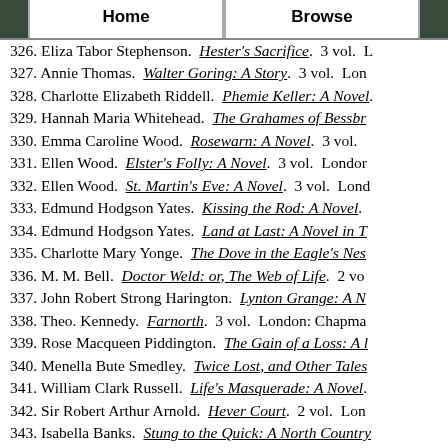Home | Browse
326. Eliza Tabor Stephenson. Hester's Sacrifice. 3 vol. L
327. Annie Thomas. Walter Goring: A Story. 3 vol. Lon
328. Charlotte Elizabeth Riddell. Phemie Keller: A Novel.
329. Hannah Maria Whitehead. The Grahames of Bessbr
330. Emma Caroline Wood. Rosewarn: A Novel. 3 vol.
331. Ellen Wood. Elster's Folly: A Novel. 3 vol. London
332. Ellen Wood. St. Martin's Eve: A Novel. 3 vol. Lond
333. Edmund Hodgson Yates. Kissing the Rod: A Novel.
334. Edmund Hodgson Yates. Land at Last: A Novel in T
335. Charlotte Mary Yonge. The Dove in the Eagle's Nes
336. M. M. Bell. Doctor Weld: or, The Web of Life. 2 vo
337. John Robert Strong Harington. Lynton Grange: A N
338. Theo. Kennedy. Farnorth. 3 vol. London: Chapma
339. Rose Macqueen Piddington. The Gain of a Loss: A l
340. Menella Bute Smedley. Twice Lost, and Other Tales
341. William Clark Russell. Life's Masquerade: A Novel.
342. Sir Robert Arthur Arnold. Hever Court. 2 vol. Lon
343. Isabella Banks. Stung to the Quick: A North Country
344. Eleanor Frances Blakiston. Do Well and Doubt Not:
345. Alfred Austin. Lovele Existence: A Novel. 2